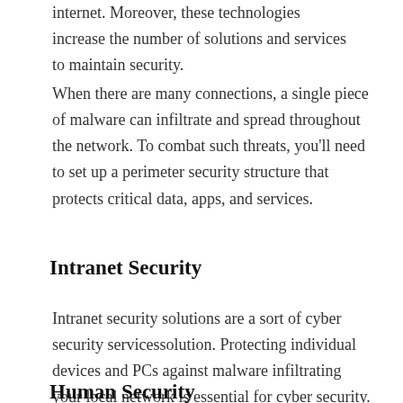internet. Moreover, these technologies increase the number of solutions and services to maintain security.
When there are many connections, a single piece of malware can infiltrate and spread throughout the network. To combat such threats, you'll need to set up a perimeter security structure that protects critical data, apps, and services.
Intranet Security
Intranet security solutions are a sort of cyber security servicessolution. Protecting individual devices and PCs against malware infiltrating your local network is essential for cyber security.
Human Security